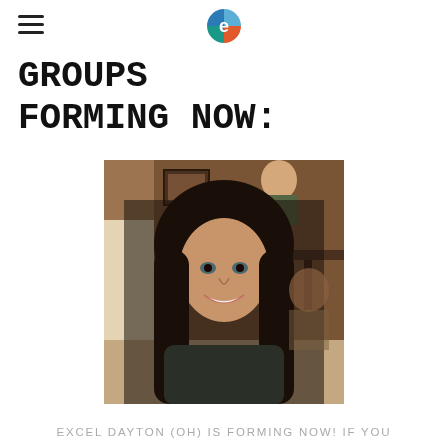≡  [logo: e]
GROUPS FORMING NOW:
[Figure (photo): A smiling woman with long dark hair sitting in what appears to be a restaurant or cafe setting. She is wearing a dark sweater. Other patrons and wooden decor are visible in the background.]
EXCEL DAYTON (OH) IS FORMING NOW! IF YOU